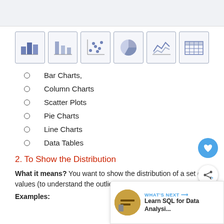[Figure (illustration): Row of six chart type icons in bordered boxes: bar chart, column chart, scatter plot, pie chart, line chart, data table/grid]
Bar Charts,
Column Charts
Scatter Plots
Pie Charts
Line Charts
Data Tables
2. To Show the Distribution
What it means? You want to show the distribution of a set of values (to understand the outliers, normal ranges etc...
Examples: